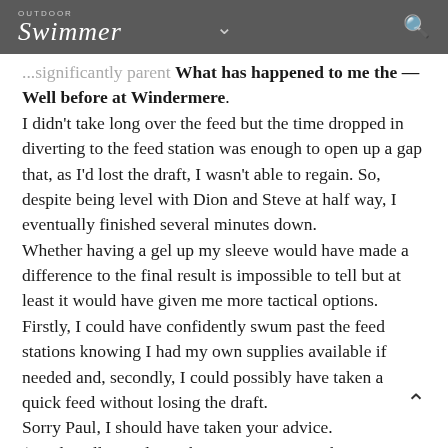Outdoor Swimmer
...significantly parent What has happened to me the — Well before at Windermere. I didn’t take long over the feed but the time dropped in diverting to the feed station was enough to open up a gap that, as I’d lost the draft, I wasn’t able to regain. So, despite being level with Dion and Steve at half way, I eventually finished several minutes down. Whether having a gel up my sleeve would have made a difference to the final result is impossible to tell but at least it would have given me more tactical options. Firstly, I could have confidently swum past the feed stations knowing I had my own supplies available if needed and, secondly, I could possibly have taken a quick feed without losing the draft. Sorry Paul, I should have taken your advice. (Incidentally, Paul won his age category in the non-wetsuit event.) The other thing I saw at Coniston was the impact of not